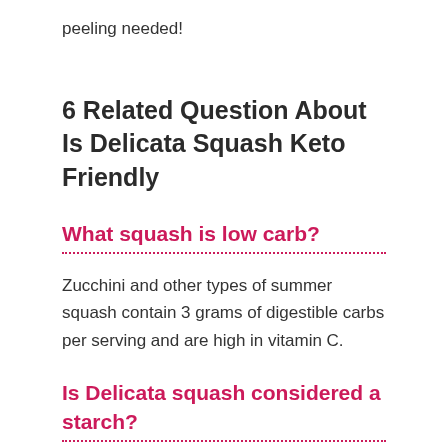peeling needed!
6 Related Question About Is Delicata Squash Keto Friendly
What squash is low carb?
Zucchini and other types of summer squash contain 3 grams of digestible carbs per serving and are high in vitamin C.
Is Delicata squash considered a starch?
I often get asked whether butternut squash is considered a non-starchy or starchy vegetable